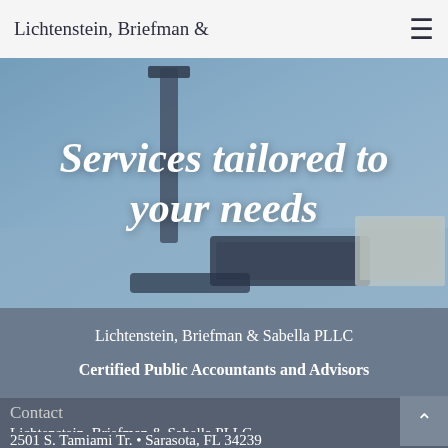Lichtenstein, Briefman &
[Figure (photo): Office desk scene with keyboard, monitor, and papers in blue tones, overlaid with italic text: Services tailored to your needs]
Services tailored to your needs
Lichtenstein, Briefman & Sabella PLLC
Certified Public Accountants and Advisors
Contact
Lichtenstein, Briefman & Sabella PLLC
2501 S. Tamiami Tr. • Sarasota, FL 34239